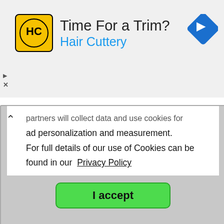[Figure (screenshot): Hair Cuttery advertisement banner with yellow logo showing HC initials, text 'Time For a Trim?' and 'Hair Cuttery' in blue, with a blue navigation arrow icon on the right]
[Figure (screenshot): Cookie consent modal popup with text about partners collecting data and use of cookies for personalization and measurement, Privacy Policy link, and a green 'I accept' button]
| Link: | http://www.strudwicke.com/ |
| Description: | STRUDWICK One Name Study |
| Classification: | Births, Deaths, Marriages, Obituaries |
| Title: | The Honourable East India Company |
| Link: | http://web.archive.org/web/20110207202311/h |
| Description: | Finding East India Company Ancestors |
| Extra Info: | This is a copy of a site that is no longer active. take a few moments to load, but most informat... seems to be available. Collected from various |